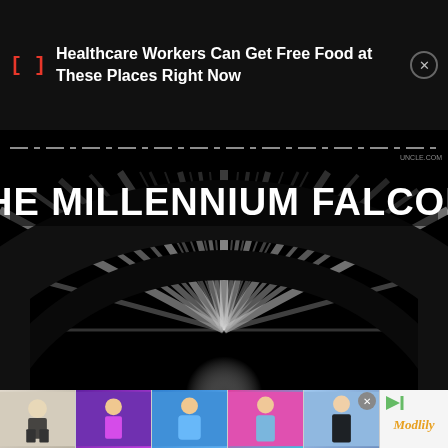[] Healthcare Workers Can Get Free Food at These Places Right Now
[Figure (photo): The Millennium Falcon cockpit window with hyperspace star-burst effect, black and white motion blur, with bold white text overlay reading THE MILLENNIUM FALCON!]
[Figure (photo): Advertisement strip showing five fashion/swimwear photos of women in various outfits, with Modlily branding logo on the right]